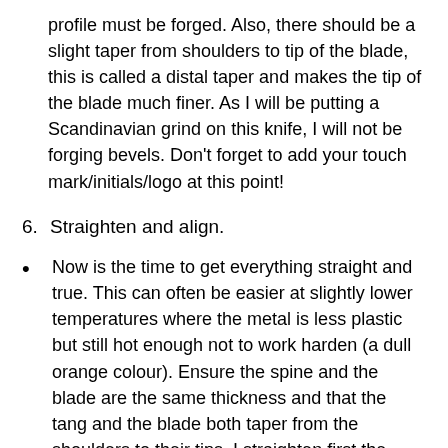profile must be forged. Also, there should be a slight taper from shoulders to tip of the blade, this is called a distal taper and makes the tip of the blade much finer. As I will be putting a Scandinavian grind on this knife, I will not be forging bevels. Don't forget to add your touch mark/initials/logo at this point!
6. Straighten and align.
Now is the time to get everything straight and true. This can often be easier at slightly lower temperatures where the metal is less plastic but still hot enough not to work harden (a dull orange colour). Ensure the spine and the blade are the same thickness and that the tang and the blade both taper from the shoulders to their tips. I straighten first the tang, then the blade,